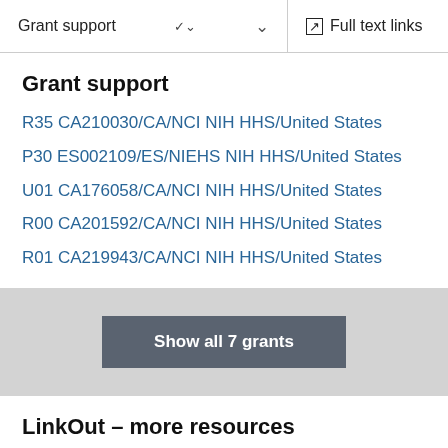Grant support   ∨   Full text links
Grant support
R35 CA210030/CA/NCI NIH HHS/United States
P30 ES002109/ES/NIEHS NIH HHS/United States
U01 CA176058/CA/NCI NIH HHS/United States
R00 CA201592/CA/NCI NIH HHS/United States
R01 CA219943/CA/NCI NIH HHS/United States
Show all 7 grants
LinkOut – more resources